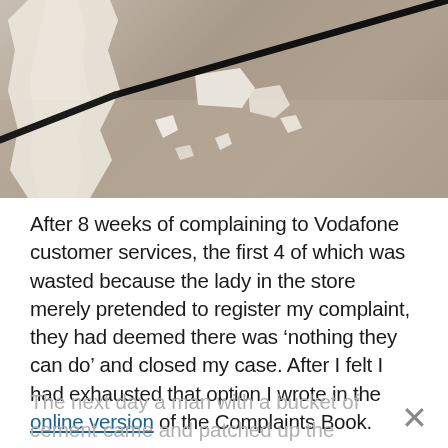[Figure (photo): Photo of a damaged wall where a black cable runs along the junction of a white wall and a concrete floor, with chunks of plaster and rubble broken off and scattered on the ground.]
After 8 weeks of complaining to Vodafone customer services, the first 4 of which was wasted because the lady in the store merely pretended to register my complaint, they had deemed there was ‘nothing they can do’ and closed my case. After I felt I had exhausted that option I wrote in the online version of the Complaints Book.
The next day a man with a bucket of cement came and patched up the wall in 20 minutes.